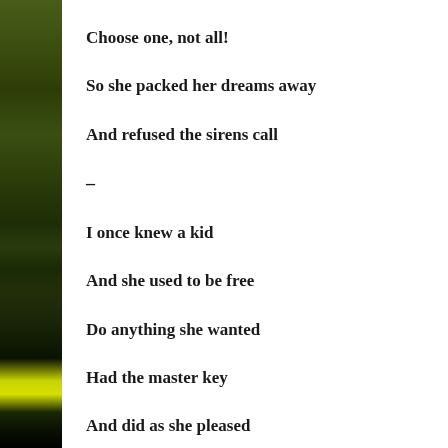[Figure (photo): Left side vertical strip showing a dark green and black background with a bright yellow-green element near the bottom, partially visible edge of a book or album cover.]
Choose one, not all!
So she packed her dreams away
And refused the sirens call
–
I once knew a kid
And she used to be free
Do anything she wanted
Had the master key
And did as she pleased